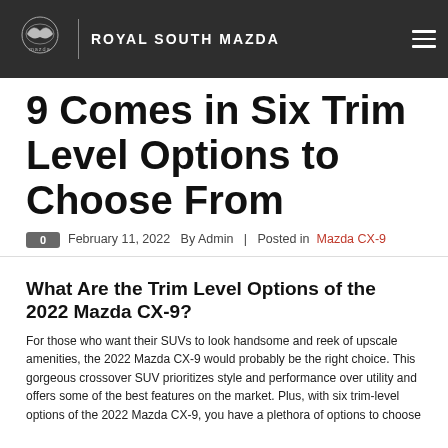ROYAL SOUTH MAZDA
9 Comes in Six Trim Level Options to Choose From
0  February 11, 2022  By Admin  |  Posted in  Mazda CX-9
What Are the Trim Level Options of the 2022 Mazda CX-9?
For those who want their SUVs to look handsome and reek of upscale amenities, the 2022 Mazda CX-9 would probably be the right choice. This gorgeous crossover SUV prioritizes style and performance over utility and offers some of the best features on the market. Plus, with six trim-level options of the 2022 Mazda CX-9, you have a plethora of options to choose